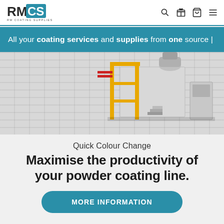RMCS - RM Coating Supplies
All your coating services and supplies from one source |
[Figure (photo): Industrial powder coating equipment with yellow frame structure, white spray booth, and ventilation system on brick wall background]
Quick Colour Change
Maximise the productivity of your powder coating line.
MORE INFORMATION